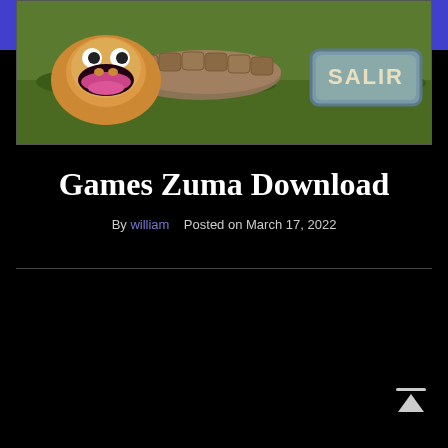MENU
[Figure (screenshot): Game screenshot showing a cartoon frog/creature character with a stone sign reading 'SALIR' on a grassy background — from the Zuma game.]
Games Zuma Download
By william  Posted on March 17, 2022